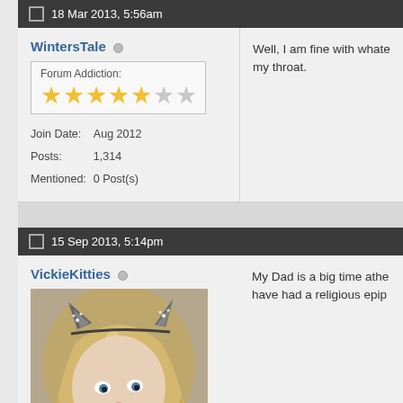18 Mar 2013, 5:56am
WintersTale
Forum Addiction:
| Field | Value |
| --- | --- |
| Join Date: | Aug 2012 |
| Posts: | 1,314 |
| Mentioned: | 0 Post(s) |
Well, I am fine with whate... my throat.
15 Sep 2013, 5:14pm
VickieKitties
[Figure (photo): Profile photo of VickieKitties, a blonde woman wearing cat ear headband with rhinestones]
My Dad is a big time athe... have had a religious epip...